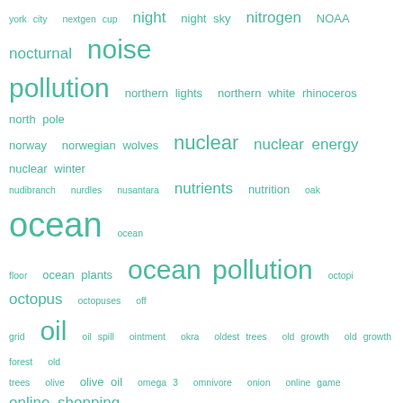[Figure (other): Word cloud with environmental and ecology-related terms rendered in teal/green color at varying font sizes indicating frequency. Terms include: york city, nextgen cup, night, night sky, nitrogen, NOAA, nocturnal, noise pollution, northern lights, northern white rhinoceros, north pole, norway, norwegian wolves, nuclear, nuclear energy, nuclear winter, nudibranch, nurdles, nusantara, nutrients, nutrition, oak, ocean, ocean floor, ocean plants, ocean pollution, octopi, octopus, octopuses, off grid, oil, oil spill, ointment, okra, oldest trees, old growth, old growth forest, old trees, olive, olive oil, omega 3, omnivore, onion, online game, online shopping, Ooho, opossum, oral care, orangutan, orca, orchid, orchids, organic, organic farming, organic food, organic garden, organic perfume, organic pesticides, organism, organizations, ornament, orphaned, outdoor, oxygen, Oymyakon, oyster, ozone, ozone holes, ozone layer, pacific ocean, package free, packaging, paddy, palau, palm oil, panda, pandemic, pangolin, paper, paper battery, paper bottle, paper bottles, paper cup, paper receipt, papers, papua, paradox, parasite, parasites, parenting, paris, paris agreement, park, parking lot, park ranger, parrot, party, passive house, passivhaus, patagonia, pathogens, pea, pea protein, peat, peatland, peatlands, penguin, peppermint, peppermint oil, peppers, perfume, permafrost, perpetual motion, pests, pet, pet food, pet lizard, pet rescue, pet reunion, petrichor, petrol, pets, pet treats, phenomena, phillippines, philosophy, phone, photo, photographer, photosynthesis, phytoplankton, picturesque, pig, pigeon, piglets, pigs, pine, pine cone, pine marten, pine tree, pink fairy armadillo]